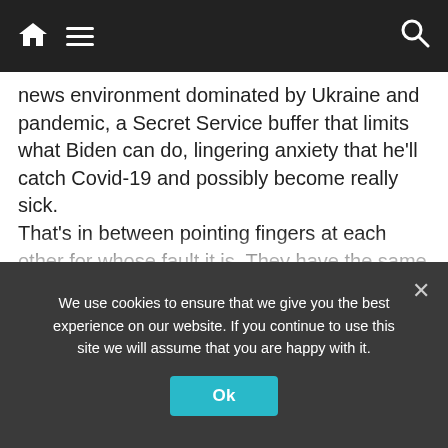Navigation bar with home icon, menu icon, and search icon
news environment dominated by Ukraine and pandemic, a Secret Service buffer that limits what Biden can do, lingering anxiety that he’ll catch Covid-19 and possibly become really sick. That’s in between pointing fingers at each other for whose fault it is. They have the same internal meetings over and over, insisting that they need to change up their whole approach to how they’re using Biden — and then each time watch as nothing changes. Older aides dismiss the younger aides as being too caught up in the tweet-by-tweet thinking they say lost the 2020 election for everyone else. Younger aides
We use cookies to ensure that we give you the best experience on our website. If you continue to use this site we will assume that you are happy with it.